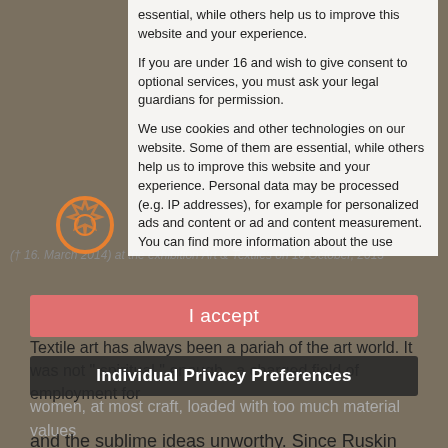essential, while others help us to improve this website and your experience.
If you are under 16 and wish to give consent to optional services, you must ask your legal guardians for permission.
We use cookies and other technologies on our website. Some of them are essential, while others help us to improve this website and your experience. Personal data may be processed (e.g. IP addresses), for example for personalized ads and content or ad and content measurement. You can find more information about the use
(† 16. March 2014) at the exhibition Art & Textiles on 10 October, 2013
I accept
Individual Privacy Preferences
Textile art has always been a pariah of the art world. It was not " spiritual " enough , a charged field of employment for
women, at most craft, loaded with too much material values
and the sublime ideas unworthy. Since Ruskin and Morris, before and after the First World War there were Reform efforts , but these were repeatedly said and written small in their effect by the guardians of the holy grail of art.